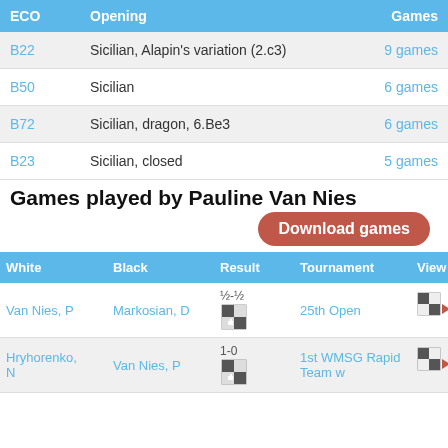| ECO | Opening | Games |
| --- | --- | --- |
| B22 | Sicilian, Alapin's variation (2.c3) | 9 games |
| B50 | Sicilian | 6 games |
| B72 | Sicilian, dragon, 6.Be3 | 6 games |
| B23 | Sicilian, closed | 5 games |
Games played by Pauline Van Nies
Download games
| White | Black | Result | Tournament | View |
| --- | --- | --- | --- | --- |
| Van Nies, P | Markosian, D | ½-½ | 25th Open | [view] |
| Hryhorenko, N | Van Nies, P | 1-0 | 1st WMSG Rapid Team w | [view] |